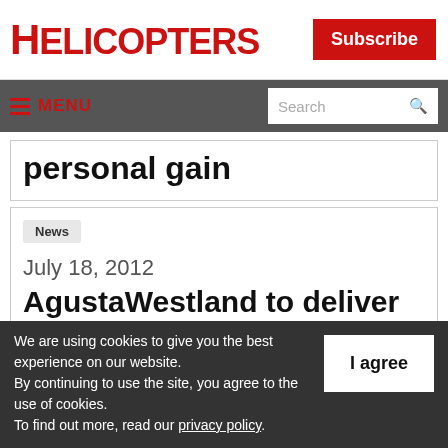HELICOPTERS
Subscribe
MENU  Search
personal gain
News
July 18, 2012
AgustaWestland to deliver three
We are using cookies to give you the best experience on our website. By continuing to use the site, you agree to the use of cookies. To find out more, read our privacy policy.
I agree